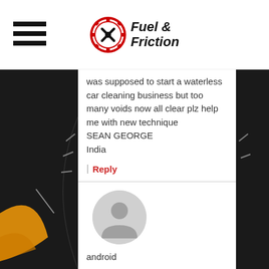[Figure (logo): Fuel & Friction logo with hamburger menu icon on the left and gear/wrench icon with bold text 'Fuel & Friction' in center]
was supposed to start a waterless car cleaning business but too many voids now all clear plz help me with new technique
SEAN GEORGE
India
Reply
[Figure (photo): Generic user avatar silhouette, gray circle with person outline]
android